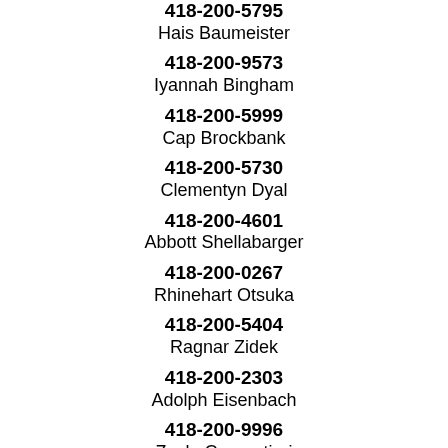418-200-5795
Hais Baumeister
418-200-9573
Iyannah Bingham
418-200-5999
Cap Brockbank
418-200-5730
Clementyn Dyal
418-200-4601
Abbott Shellabarger
418-200-0267
Rhinehart Otsuka
418-200-5404
Ragnar Zidek
418-200-2303
Adolph Eisenbach
418-200-9996
Zayle Carpentieri